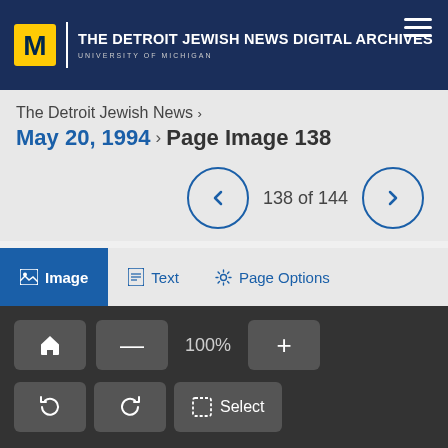THE DETROIT JEWISH NEWS DIGITAL ARCHIVES — University of Michigan
The Detroit Jewish News ›
May 20, 1994 › Page Image 138
138 of 144
Image   Text   Page Options
100%
Select
⚠ Report Problem